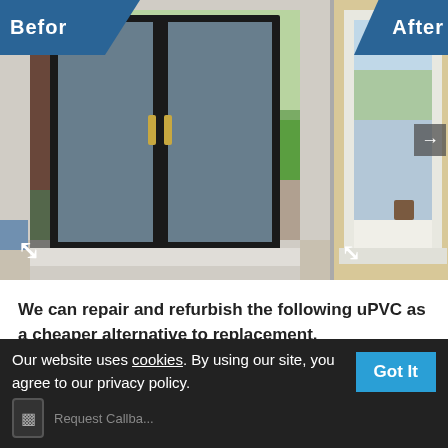[Figure (photo): Before and After comparison photos of uPVC door renovation. Left 'Before' photo shows dark-framed French doors with view of garden/driveway with white van. Right 'After' photo (partially visible) shows white-framed window. Both images have diagonal blue banner labels and expand icons.]
We can repair and refurbish the following uPVC as a cheaper alternative to replacement.
uPVC Doors & Door frames.
Our website uses cookies. By using our site, you agree to our privacy policy.